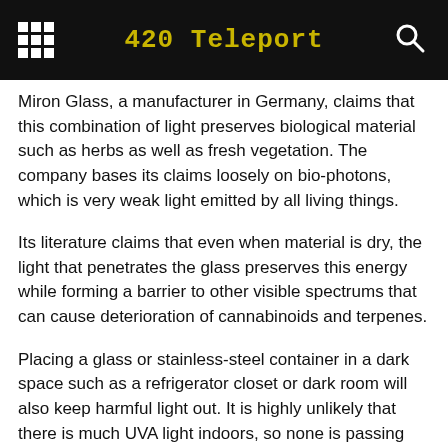420 Teleport
Miron Glass, a manufacturer in Germany, claims that this combination of light preserves biological material such as herbs as well as fresh vegetation. The company bases its claims loosely on bio-photons, which is very weak light emitted by all living things.
Its literature claims that even when material is dry, the light that penetrates the glass preserves this energy while forming a barrier to other visible spectrums that can cause deterioration of cannabinoids and terpenes.
Placing a glass or stainless-steel container in a dark space such as a refrigerator closet or dark room will also keep harmful light out. It is highly unlikely that there is much UVA light indoors, so none is passing through. However, visible light is filtered out.
In a controlled experiment, fresh garden tomatoes were placed in a Miron container, a stainless-steel container and a clear-glass